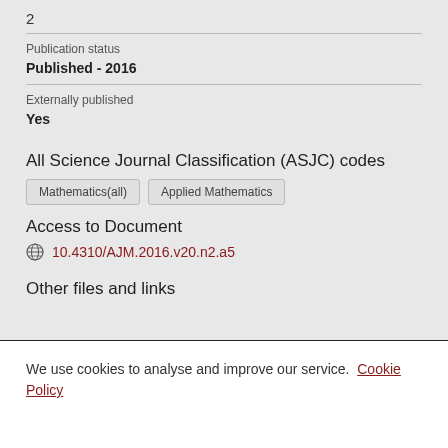2
Publication status
Published - 2016
Externally published
Yes
All Science Journal Classification (ASJC) codes
Mathematics(all)
Applied Mathematics
Access to Document
10.4310/AJM.2016.v20.n2.a5
Other files and links
We use cookies to analyse and improve our service. Cookie Policy